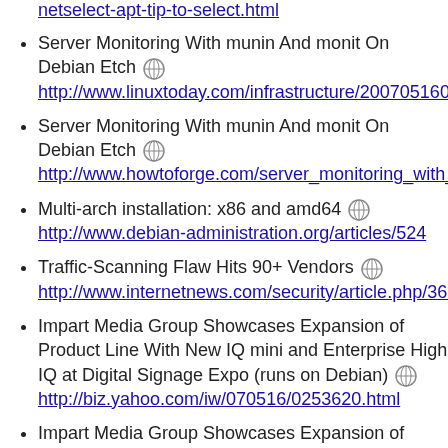netselect-apt-tip-to-select.html (link)
Server Monitoring With munin And monit On Debian Etch http://www.linuxtoday.com/infrastructure/2007051600...
Server Monitoring With munin And monit On Debian Etch http://www.howtoforge.com/server_monitoring_with_...
Multi-arch installation: x86 and amd64 http://www.debian-administration.org/articles/524
Traffic-Scanning Flaw Hits 90+ Vendors http://www.internetnews.com/security/article.php/367...
Impart Media Group Showcases Expansion of Product Line With New IQ mini and Enterprise High IQ at Digital Signage Expo (runs on Debian) http://biz.yahoo.com/iw/070516/0253620.html
Impart Media Group Showcases Expansion of Product Line With New IQ mini and Enterprise High IQ at Digital Signage Expo (runs on Debian)